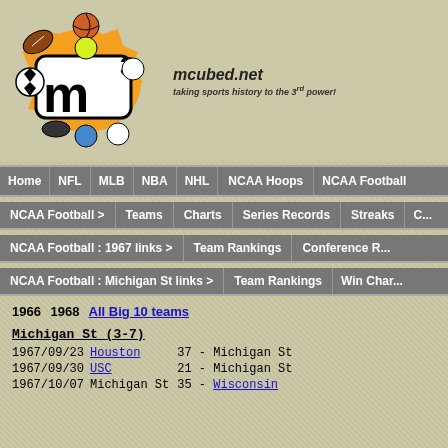[Figure (logo): m-cubed mcubed.net logo with sports balls and orange splat background]
Home | NFL | MLB | NBA | NHL | NCAA Hoops | NCAA Football
NCAA Football > | Teams | Charts | Series Records | Streaks
NCAA Football : 1967 links > | Team Rankings | Conference R...
NCAA Football : Michigan St links > | Team Rankings | Win Char...
1966  1968  All Big 10 teams
Michigan St (3-7)
| Date | Opponent | Score |
| --- | --- | --- |
| 1967/09/23 | Houston | 37 - Michigan St |
| 1967/09/30 | USC | 21 - Michigan St |
| 1967/10/07 | Michigan St | 35 - Wisconsin |